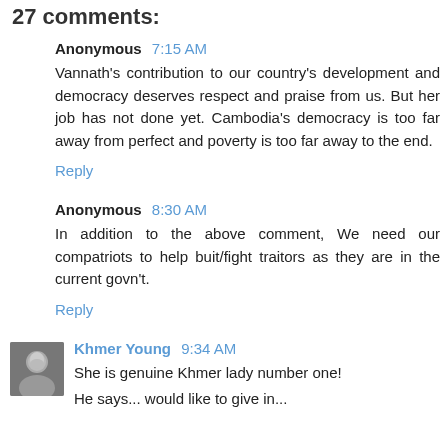27 comments:
Anonymous 7:15 AM
Vannath's contribution to our country's development and democracy deserves respect and praise from us. But her job has not done yet. Cambodia's democracy is too far away from perfect and poverty is too far away to the end.
Reply
Anonymous 8:30 AM
In addition to the above comment, We need our compatriots to help buit/fight traitors as they are in the current govn't.
Reply
Khmer Young 9:34 AM
She is genuine Khmer lady number one!
He says... would like to give in...